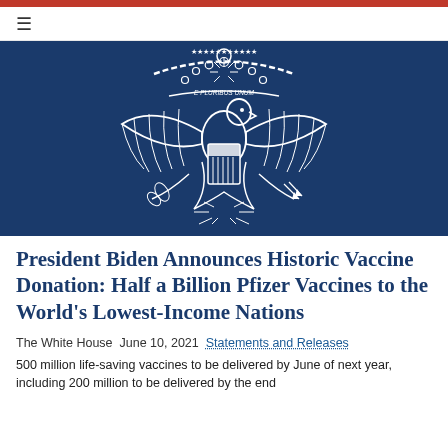≡
[Figure (logo): White House Great Seal on dark navy blue background — white outline of the United States Great Seal featuring eagle with shield, olive branch, arrows, stars, and E Pluribus Unum banner]
President Biden Announces Historic Vaccine Donation: Half a Billion Pfizer Vaccines to the World's Lowest-Income Nations
The White House June 10, 2021 Statements and Releases
500 million life-saving vaccines to be delivered by June of next year, including 200 million to be delivered by the end